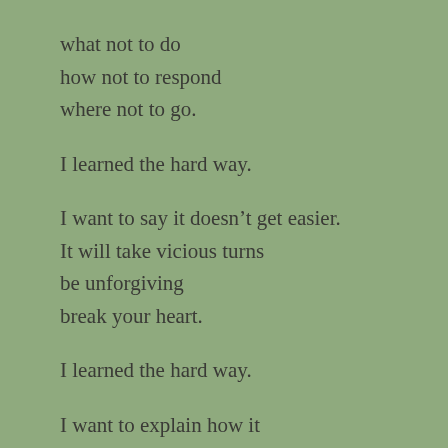what not to do
how not to respond
where not to go.
I learned the hard way.
I want to say it doesn’t get easier.
It will take vicious turns
be unforgiving
break your heart.
I learned the hard way.
I want to explain how it
steals personality
taunts intellect